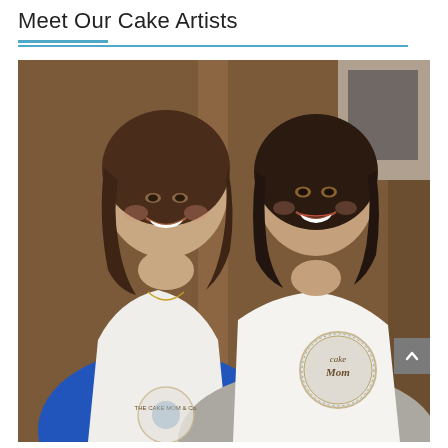Meet Our Cake Artists
[Figure (photo): Two smiling women wearing white bakery aprons in a kitchen setting. The woman on the left wears a blue top and an apron with 'The Cake Mom & Co.' logo. The woman on the right wears a grey blazer and an apron with a circular 'Cake Mom' logo. Wood-paneled background.]